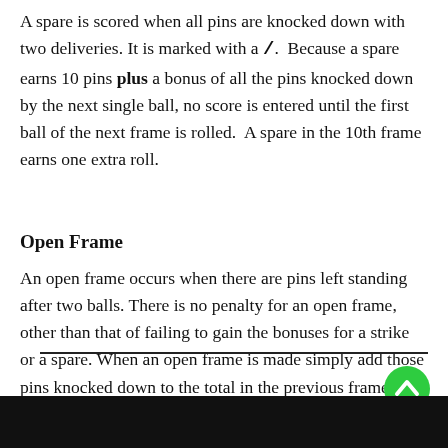A spare is scored when all pins are knocked down with two deliveries. It is marked with a /. Because a spare earns 10 pins plus a bonus of all the pins knocked down by the next single ball, no score is entered until the first ball of the next frame is rolled. A spare in the 10th frame earns one extra roll.
Open Frame
An open frame occurs when there are pins left standing after two balls. There is no penalty for an open frame, other than that of failing to gain the bonuses for a strike or a spare. When an open frame is made simply add those pins knocked down to the total in the previous frame.
[Figure (other): Green circular scroll-to-top button with upward chevron arrow, overlaid on a horizontal divider line]
[Figure (screenshot): Dark video player bar at the bottom of the page]